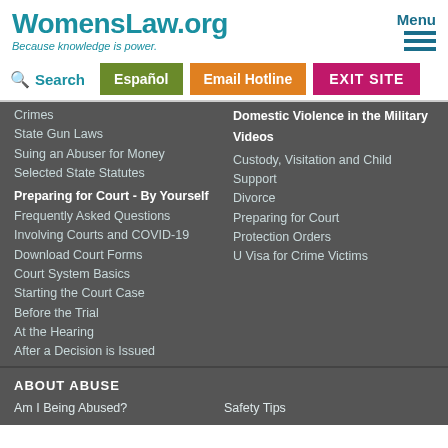WomensLaw.org
Because knowledge is power.
Menu
Search
Español
Email Hotline
EXIT SITE
Crimes
State Gun Laws
Suing an Abuser for Money
Selected State Statutes
Preparing for Court - By Yourself
Frequently Asked Questions Involving Courts and COVID-19
Download Court Forms
Court System Basics
Starting the Court Case
Before the Trial
At the Hearing
After a Decision is Issued
Domestic Violence in the Military
Videos
Custody, Visitation and Child Support
Divorce
Preparing for Court
Protection Orders
U Visa for Crime Victims
ABOUT ABUSE
Am I Being Abused?
Safety Tips